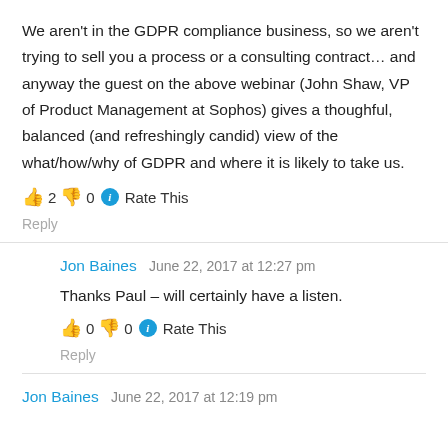We aren't in the GDPR compliance business, so we aren't trying to sell you a process or a consulting contract… and anyway the guest on the above webinar (John Shaw, VP of Product Management at Sophos) gives a thoughful, balanced (and refreshingly candid) view of the what/how/why of GDPR and where it is likely to take us.
👍 2 👎 0 ℹ Rate This
Reply
Jon Baines  June 22, 2017 at 12:27 pm
Thanks Paul – will certainly have a listen.
👍 0 👎 0 ℹ Rate This
Reply
Jon Baines  June 22, 2017 at 12:19 pm